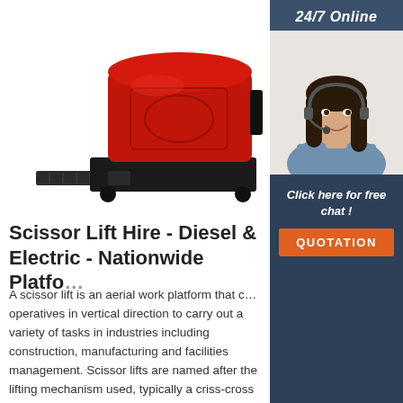[Figure (photo): Red electric scissor lift platform on white background, showing the red body and black base with a step/platform extending forward]
[Figure (photo): Woman with headset smiling, representing a 24/7 online customer service agent, shown in sidebar panel]
Scissor Lift Hire - Diesel & Electric - Nationwide Platfo...
A scissor lift is an aerial work platform that c... operatives in vertical direction to carry out a variety of tasks in industries including construction, manufacturing and facilities management. Scissor lifts are named after the lifting mechanism used, typically a criss-cross configuration of tubes, powered by hydraulic cylinders to raise ...